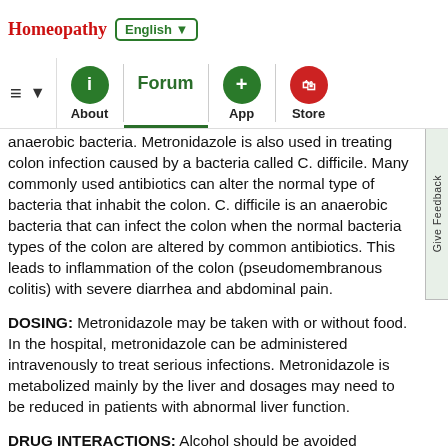Homeopathy | English ▼
≡ ▼ | About | Forum | App | Store | Give Feedback
anaerobic bacteria. Metronidazole is also used in treating colon infection caused by a bacteria called C. difficile. Many commonly used antibiotics can alter the normal type of bacteria that inhabit the colon. C. difficile is an anaerobic bacteria that can infect the colon when the normal bacteria types of the colon are altered by common antibiotics. This leads to inflammation of the colon (pseudomembranous colitis) with severe diarrhea and abdominal pain.
DOSING: Metronidazole may be taken with or without food. In the hospital, metronidazole can be administered intravenously to treat serious infections. Metronidazole is metabolized mainly by the liver and dosages may need to be reduced in patients with abnormal liver function.
DRUG INTERACTIONS: Alcohol should be avoided because metronidazole and alcohol together can cause severe nausea, vomiting, cramps, flushing, and headache. Metronidazole can increase the blood thinning effects of warfarin (Coumadin) and increase the risk of bleeding. Cimetidine (Tagamet) increases